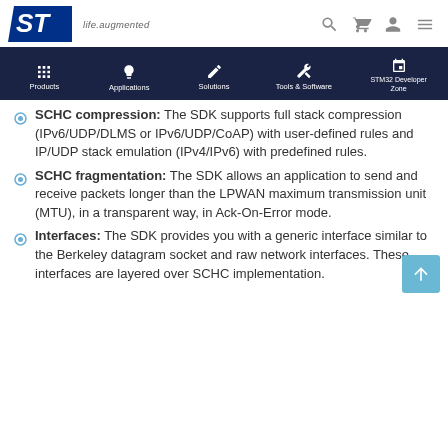ST life.augmented
Products | Applications | Solutions | Tools & Software | STM32 Developer Zone
SCHC compression: The SDK supports full stack compression (IPv6/UDP/DLMS or IPv6/UDP/CoAP) with user-defined rules and IP/UDP stack emulation (IPv4/IPv6) with predefined rules.
SCHC fragmentation: The SDK allows an application to send and receive packets longer than the LPWAN maximum transmission unit (MTU), in a transparent way, in Ack-On-Error mode.
Interfaces: The SDK provides you with a generic interface similar to the Berkeley datagram socket and raw network interfaces. These interfaces are layered over SCHC implementation.